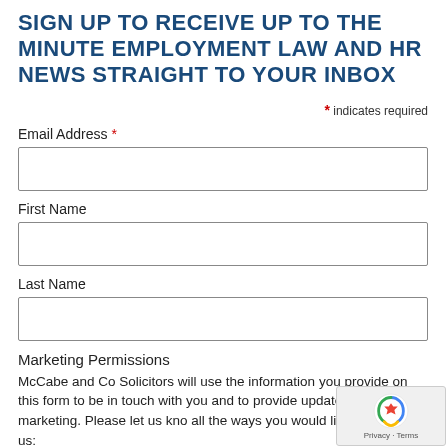SIGN UP TO RECEIVE UP TO THE MINUTE EMPLOYMENT LAW AND HR NEWS STRAIGHT TO YOUR INBOX
* indicates required
Email Address *
First Name
Last Name
Marketing Permissions
McCabe and Co Solicitors will use the information you provide on this form to be in touch with you and to provide updates and marketing. Please let us know all the ways you would like to hear from us:
Email